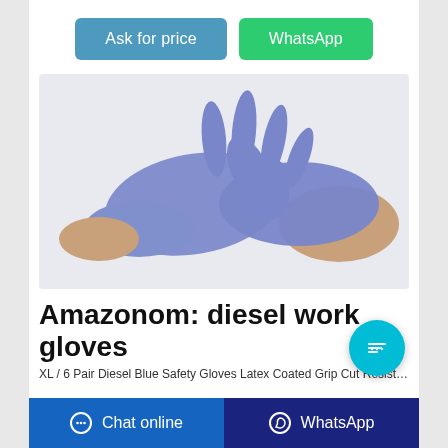Ask for price | WhatsApp
[Figure (photo): A pair of blue/purple nitrile safety gloves being worn and displayed against a white background.]
Amazonom: diesel work gloves
XL / 6 Pair Diesel Blue Safety Gloves Latex Coated Grip Cut Resistant  4.9 out of 5
Chat online | WhatsApp